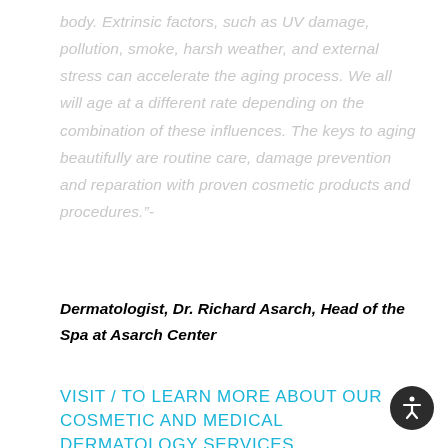body. Extrinsic factors, such as UV damage, pollution, smoke, harsh weather, and external stress can accelerate the aging process. We all will age at a different rate depending on the combination of these influences. The keys to aging beautifully are routine care, damage prevention and reparation with proven cosmetic products and procedures."-
Dermatologist, Dr. Richard Asarch, Head of the Spa at Asarch Center
VISIT / TO LEARN MORE ABOUT OUR COSMETIC AND MEDICAL DERMATOLOGY SERVICES